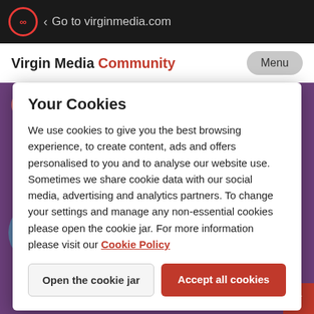Go to virginmedia.com
Virgin Media Community
[Figure (screenshot): Virgin Media Community website background with purple header, Search for answers button, Post a question button, Security matters navigation, and various UI elements]
Your Cookies
We use cookies to give you the best browsing experience, to create content, ads and offers personalised to you and to analyse our website use. Sometimes we share cookie data with our social media, advertising and analytics partners. To change your settings and manage any non-essential cookies please open the cookie jar. For more information please visit our Cookie Policy
Open the cookie jar
Accept all cookies